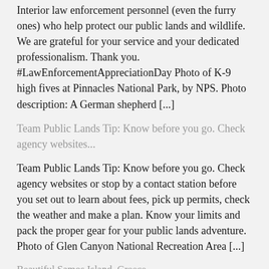Interior law enforcement personnel (even the furry ones) who help protect our public lands and wildlife. We are grateful for your service and your dedicated professionalism. Thank you. #LawEnforcementAppreciationDay Photo of K-9 high fives at Pinnacles National Park, by NPS. Photo description: A German shepherd [...]
Team Public Lands Tip: Know before you go. Check agency websites...
Team Public Lands Tip: Know before you go. Check agency websites or stop by a contact station before you set out to learn about fees, pick up permits, check the weather and make a plan. Know your limits and pack the proper gear for your public lands adventure. Photo of Glen Canyon National Recreation Area [...]
Beautiful Samos Island, Greece.
Samos Island in the Aegean Sea
Jimmy Carter says the middle class is worse off